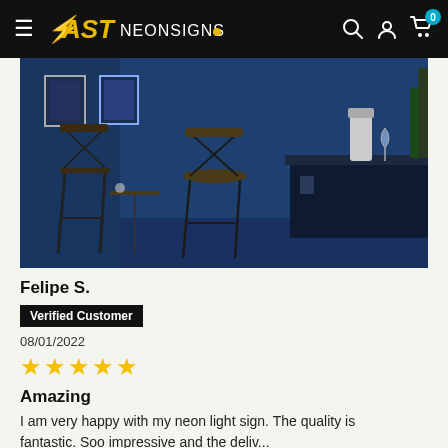FAST NEONSIGNS
[Figure (photo): Dark blue-lit bar room interior with bar stools, a dark counter/bar area with bottles, blender, and framed pictures on the wall]
Felipe S.
Verified Customer
08/01/2022
★★★★★
Amazing
I am very happy with my neon light sign. The quality is fantastic. Soo impressive and the deliv...